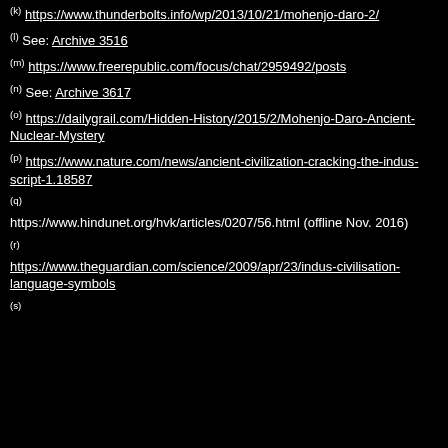(k) https://www.thunderbolts.info/wp/2013/10/21/mohenjo-daro-2/
(l) See: Archive 3516
(m) https://www.freerepublic.com/focus/chat/2959492/posts
(n) See: Archive 3617
(o) https://dailygrail.com/Hidden-History/2015/2/Mohenjo-Daro-Ancient-Nuclear-Mystery
(p) https://www.nature.com/news/ancient-civilization-cracking-the-indus-script-1.18587
(q) https://www.hindunet.org/hvk/articles/0207/56.html (offline Nov. 2016)
(r) https://www.theguardian.com/science/2009/apr/23/indus-civilisation-language-symbols
(s)